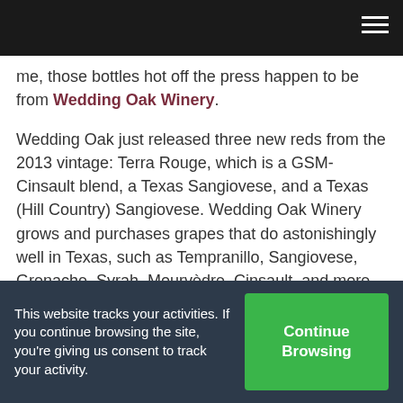me, those bottles hot off the press happen to be from Wedding Oak Winery.
Wedding Oak just released three new reds from the 2013 vintage: Terra Rouge, which is a GSM-Cinsault blend, a Texas Sangiovese, and a Texas (Hill Country) Sangiovese. Wedding Oak Winery grows and purchases grapes that do astonishingly well in Texas, such as Tempranillo, Sangiovese, Grenache, Syrah, Mourvèdre, Cinsault, and more. The quality and balance of the wines they make confirm using the right grapes can make for stellar wines. Of
This website tracks your activities. If you continue browsing the site, you're giving us consent to track your activity.